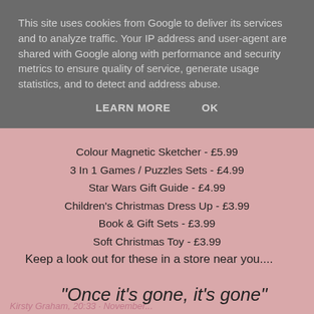This site uses cookies from Google to deliver its services and to analyze traffic. Your IP address and user-agent are shared with Google along with performance and security metrics to ensure quality of service, generate usage statistics, and to detect and address abuse.
LEARN MORE   OK
Colour Magnetic Sketcher - £5.99
3 In 1 Games / Puzzles Sets - £4.99
Star Wars Gift Guide - £4.99
Children's Christmas Dress Up - £3.99
Book & Gift Sets - £3.99
Soft Christmas Toy - £3.99
Keep a look out for these in a store near you....
"Once it's gone, it's gone"
Kirsty Graham, 20:33, November...